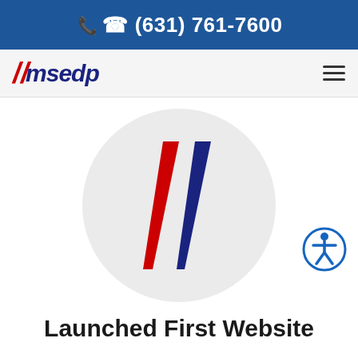(631) 761-7600
[Figure (logo): msedp company logo with red slash marks and dark blue italic text]
[Figure (logo): msedp circular logo with red and dark blue diagonal slash marks on light gray circle background]
[Figure (illustration): Circular accessibility icon with human figure and circle border in blue]
Launched First Website
2007
Chat